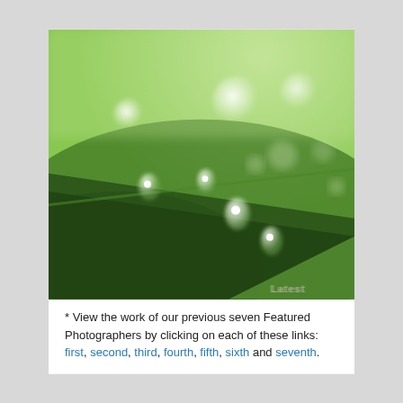[Figure (photo): Macro photograph of water droplets on a green leaf, with bokeh blur effect. A diagonal leaf edge divides the frame. Several translucent water drops are visible along a stem, with bright catchlights. A watermark reading 'Latest' appears in the bottom right corner.]
* View the work of our previous seven Featured Photographers by clicking on each of these links:   first, second, third, fourth, fifth, sixth and seventh.